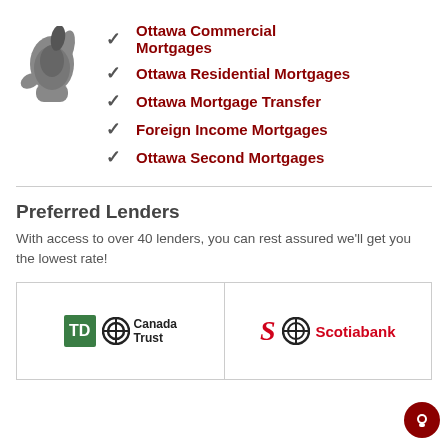[Figure (illustration): Grey pointing hand cursor icon]
Ottawa Commercial Mortgages
Ottawa Residential Mortgages
Ottawa Mortgage Transfer
Foreign Income Mortgages
Ottawa Second Mortgages
Preferred Lenders
With access to over 40 lenders, you can rest assured we'll get you the lowest rate!
[Figure (logo): TD Canada Trust logo]
[Figure (logo): Scotiabank logo]